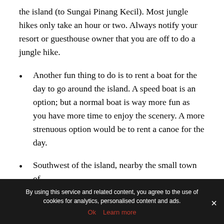the island (to Sungai Pinang Kecil). Most jungle hikes only take an hour or two. Always notify your resort or guesthouse owner that you are off to do a jungle hike.
Another fun thing to do is to rent a boat for the day to go around the island. A speed boat is an option; but a normal boat is way more fun as you have more time to enjoy the scenery. A more strenuous option would be to rent a canoe for the day.
Southwest of the island, nearby the small town of
By using this service and related content, you agree to the use of cookies for analytics, personalised content and ads.